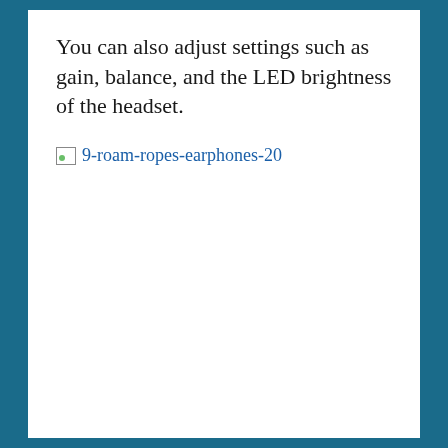You can also adjust settings such as gain, balance, and the LED brightness of the headset.
[Figure (other): Broken image placeholder with alt text '9-roam-ropes-earphones-20' shown as a link-style element with broken image icon]